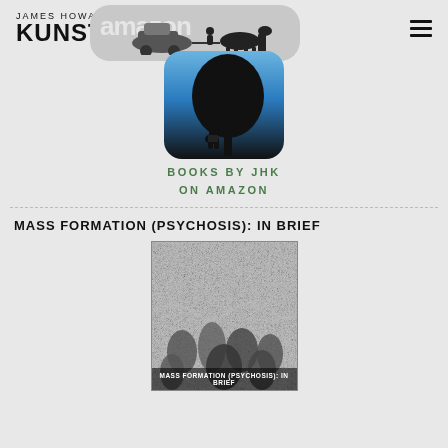JAMES HOWARD KUNSTLER
[Figure (screenshot): Amazon Kindle app icon and logo banner with car and horse illustration]
BOOKS BY JHK
ON AMAZON
MASS FORMATION (PSYCHOSIS): IN BRIEF
[Figure (photo): Book cover for Mass Formation (Psychosis): In Brief showing a crowd in black and white stylized illustration]